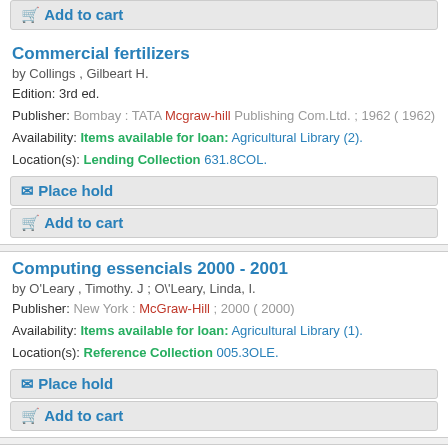Add to cart
Commercial fertilizers
by Collings , Gilbeart H.
Edition: 3rd ed.
Publisher: Bombay : TATA Mcgraw-hill Publishing Com.Ltd. ; 1962 ( 1962)
Availability: Items available for loan: Agricultural Library (2).
Location(s): Lending Collection 631.8COL.
Place hold
Add to cart
Computing essencials 2000 - 2001
by O'Leary , Timothy. J ; O\'Leary, Linda, I.
Publisher: New York : McGraw-Hill ; 2000 ( 2000)
Availability: Items available for loan: Agricultural Library (1).
Location(s): Reference Collection 005.3OLE.
Place hold
Add to cart
Principles of botany
by Uno , Gordon ; Storey Richard Moore Randy.